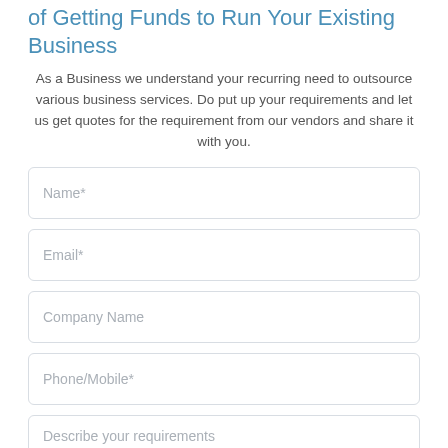Loans for a Business – The Why's and How's of Getting Funds to Run Your Existing Business
As a Business we understand your recurring need to outsource various business services. Do put up your requirements and let us get quotes for the requirement from our vendors and share it with you.
[Figure (other): Web form with input fields: Name*, Email*, Company Name, Phone/Mobile*, and Describe your requirements (textarea)]